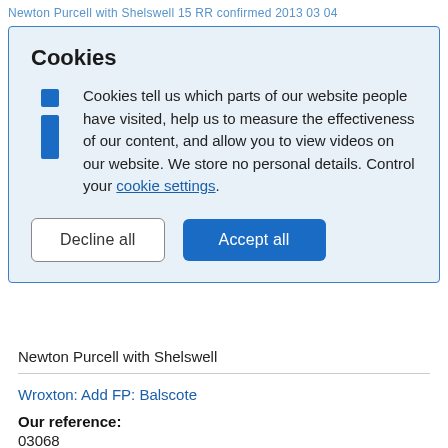Newton Purcell with Shelswell 15 BR confirmed 2013 03 04
[Figure (screenshot): Cookie consent dialog overlay with blue background. Contains title 'Cookies', an info icon, descriptive text about cookies, a link to 'cookie settings', and two buttons: 'Decline all' and 'Accept all'.]
Newton Purcell with Shelswell
Wroxton: Add FP: Balscote
Our reference:
03068
Applicant name(s):